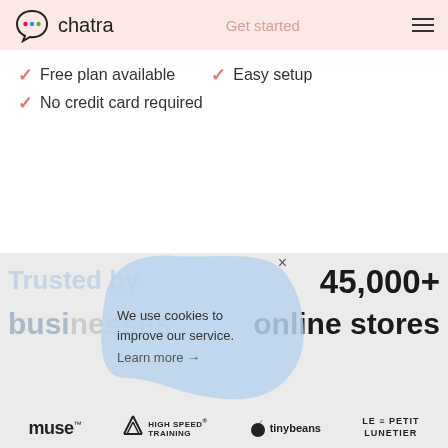chatra — Get started
✓ Free plan available
✓ Easy setup
✓ No credit card required
[Figure (screenshot): Cookie consent popup overlay with blue blob shape, text: We use cookies to improve our service. Learn more →, with X close button]
Trusted by 45,000+ businesses online stores
[Figure (logo): Brand logos row: muse, HIGH SPEED TRAINING, tinybeans, LE PETIT LUNETIER]